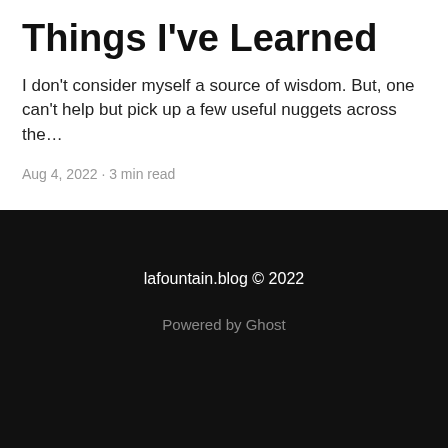Things I've Learned
I don't consider myself a source of wisdom. But, one can't help but pick up a few useful nuggets across the…
Aug 4, 2022 · 3 min read
lafountain.blog © 2022
Powered by Ghost